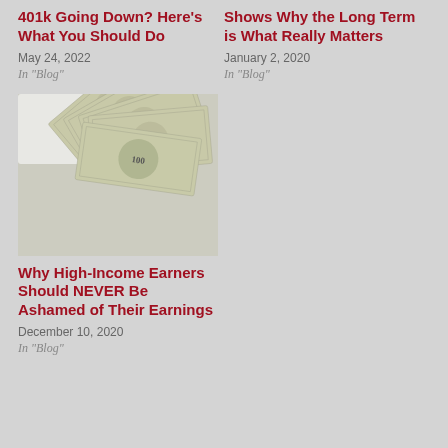401k Going Down? Here’s What You Should Do
May 24, 2022
In "Blog"
Shows Why the Long Term is What Really Matters
January 2, 2020
In "Blog"
[Figure (photo): Fan of US $100 dollar bills spread out on a light surface]
Why High-Income Earners Should NEVER Be Ashamed of Their Earnings
December 10, 2020
In "Blog"